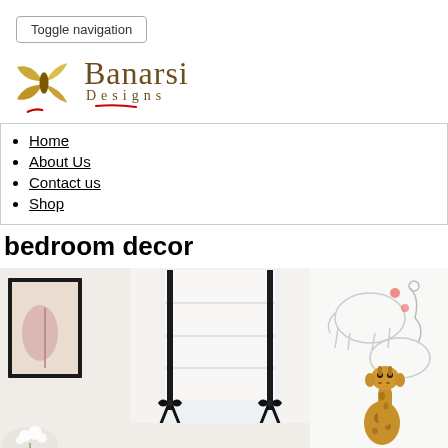Toggle navigation
[Figure (logo): Banarsi Designs logo with golden butterfly/B monogram and stylized brand name]
Home
About Us
Contact us
Shop
bedroom decor
[Figure (photo): Bedroom decor photo showing roman shades with black bows near a window, a framed artwork on the left wall, white flowers, and a giraffe stuffed animal with animal-themed wallpaper on the right]